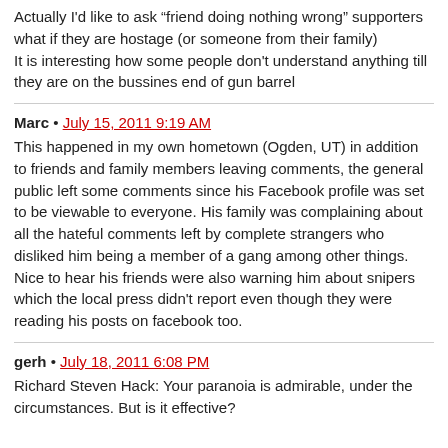Actually I'd like to ask “friend doing nothing wrong” supporters what if they are hostage (or someone from their family)
It is interesting how some people don't understand anything till they are on the bussines end of gun barrel
Marc • July 15, 2011 9:19 AM
This happened in my own hometown (Ogden, UT) in addition to friends and family members leaving comments, the general public left some comments since his Facebook profile was set to be viewable to everyone. His family was complaining about all the hateful comments left by complete strangers who disliked him being a member of a gang among other things. Nice to hear his friends were also warning him about snipers which the local press didn't report even though they were reading his posts on facebook too.
gerh • July 18, 2011 6:08 PM
Richard Steven Hack: Your paranoia is admirable, under the circumstances. But is it effective?